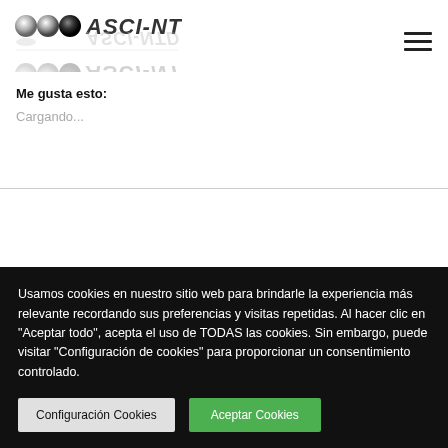[Figure (logo): ASCI-NTD logo with spheres and mirrored text]
Me gusta esto:
Cargando...
Usamos cookies en nuestro sitio web para brindarle la experiencia más relevante recordando sus preferencias y visitas repetidas. Al hacer clic en "Aceptar todo", acepta el uso de TODAS las cookies. Sin embargo, puede visitar "Configuración de cookies" para proporcionar un consentimiento controlado.
Configuración Cookies
Aceptar Cookies